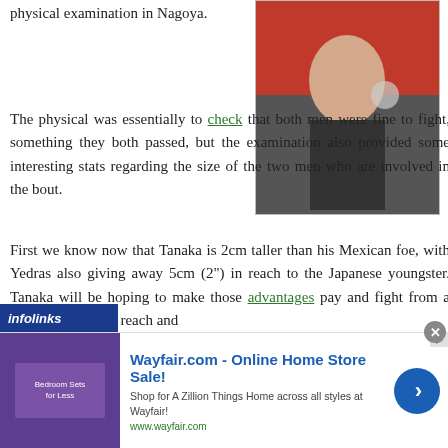physical examination in Nagoya.
[Figure (photo): Photo of two fighters/men during a physical examination or weigh-in, one in a red shirt, close-up]
The physical was essentially to check that both men were fine to fight, something they both passed, but the examination also provided some interesting stats regarding the size of the two men who are involved in the bout.
First we know now that Tanaka is 2cm taller than his Mexican foe, with Yedras also giving away 5cm (2") in reach to the Japanese youngster. Tanaka will be hoping to make those advantages pay and fight from a distance using his reach and to tag Yedras and get out of range.
[Figure (screenshot): Infolinks advertisement bar at bottom showing Wayfair.com - Online Home Store Sale! ad with purple bedroom image, blue arrow button, and ad description text]